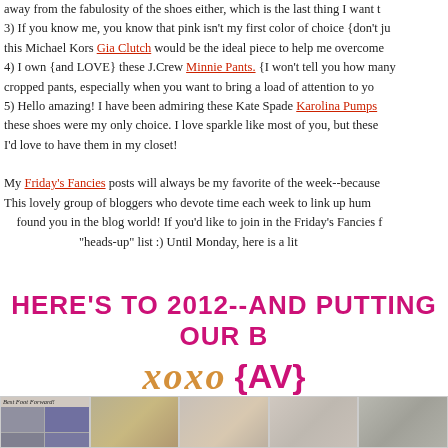away from the fabulosity of the shoes either, which is the last thing I want to [...]
3) If you know me, you know that pink isn't my first color of choice {don't ju[...]  this Michael Kors Gia Clutch would be the ideal piece to help me overcome[...]
4) I own {and LOVE} these J.Crew Minnie Pants. {I won't tell you how many[...] cropped pants, especially when you want to bring a load of attention to yo[...]
5) Hello amazing! I have been admiring these Kate Spade Karolina Pumps [...] these shoes were my only choice. I love sparkle like most of you, but these [...] I'd love to have them in my closet!
My Friday's Fancies posts will always be my favorite of the week--because[...] This lovely group of bloggers who devote time each week to link up hum[...] found you in the blog world! If you'd like to join in the Friday's Fancies f[...] "heads-up" list :) Until Monday, here is a lit[...]
HERE'S TO 2012--AND PUTTING OUR B[...] xoxo {AV}
[Figure (photo): Row of fashion blog thumbnail images including shoes, clothing collages, and accessories]